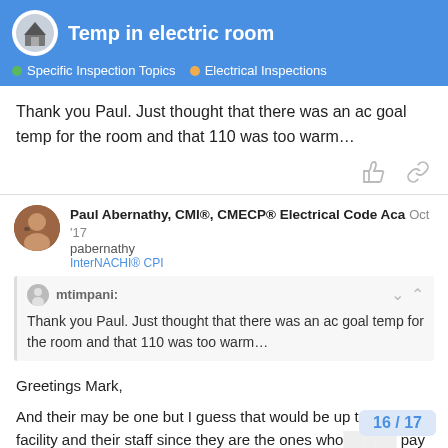Temp in electric room | Specific Inspection Topics | Electrical Inspections
Thank you Paul. Just thought that there was an ac goal temp for the room and that 110 was too warm…
Paul Abernathy, CMI®, CMECP® Electrical Code Acad Oct '17 pabernathy InterNACHI® CPI
mtimpani: Thank you Paul. Just thought that there was an ac goal temp for the room and that 110 was too warm…
Greetings Mark,
And their may be one but I guess that would be up to the facility and their staff since they are the ones who pay for it eventually. I have been in some t
16 / 17